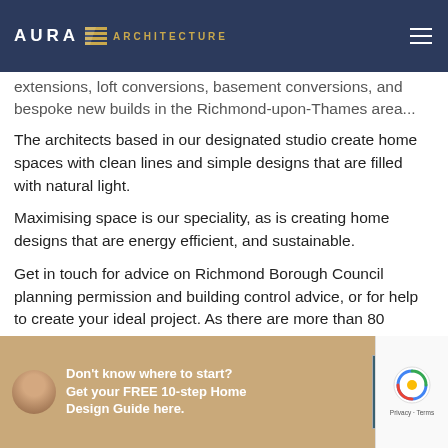AURA ARCHITECTURE
extensions, loft conversions, basement conversions, and bespoke new builds in the Richmond-upon-Thames area.
The architects based in our designated studio create home spaces with clean lines and simple designs that are filled with natural light.
Maximising space is our speciality, as is creating home designs that are energy efficient, and sustainable.
Get in touch for advice on Richmond Borough Council planning permission and building control advice, or for help to create your ideal project. As there are more than 80 conservation areas within the Richmond-upon-Thames it very important to understand the particularly strict planning restrictions and we have a good deal of experience in this.
Maybe you have rather enjoyed working from home in the last year or so? We work closely with clients wishing to install home offices, gardens or basements. Give us a call on 0203 189 1619.
Don't know where to start? Get your FREE 10-step Home Design Guide here.